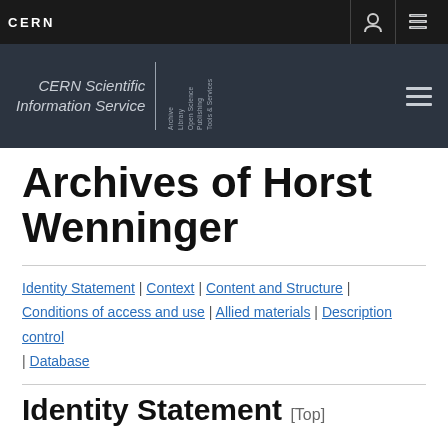CERN
[Figure (logo): CERN Scientific Information Service logo with vertical divider and sidebar text: Archive, Library, Open Science, Publishing, Tools & Services]
Archives of Horst Wenninger
Identity Statement | Context | Content and Structure | Conditions of access and use | Allied materials | Description control | Database
Identity Statement [Top]